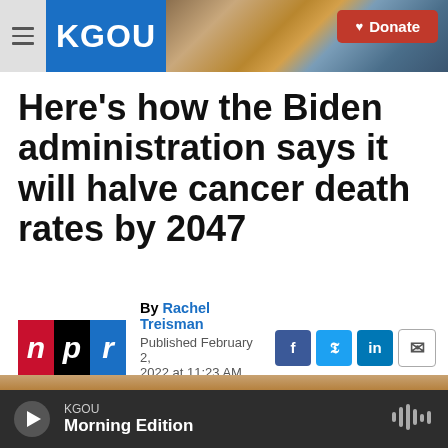KGOU | Donate
Here's how the Biden administration says it will halve cancer death rates by 2047
By Rachel Treisman
Published February 2, 2022 at 11:23 AM CST
[Figure (photo): Partial photo of an article subject visible at bottom of page]
KGOU | Morning Edition